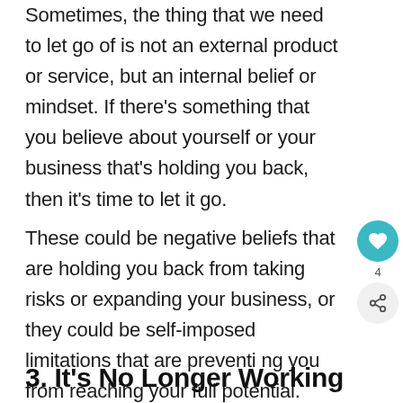Sometimes, the thing that we need to let go of is not an external product or service, but an internal belief or mindset. If there's something that you believe about yourself or your business that's holding you back, then it's time to let it go.
These could be negative beliefs that are holding you back from taking risks or expanding your business, or they could be self-imposed limitations that are preventing you from reaching your full potential.
3. It's No Longer Working